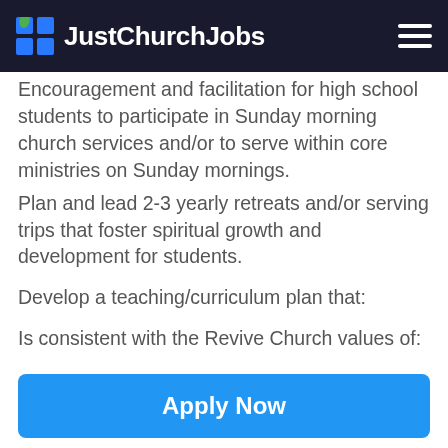JustChurchJobs
Encouragement and facilitation for high school students to participate in Sunday morning church services and/or to serve within core ministries on Sunday mornings. Plan and lead 2-3 yearly retreats and/or serving trips that foster spiritual growth and development for students.
Develop a teaching/curriculum plan that:
Is consistent with the Revive Church values of:
Apply Now